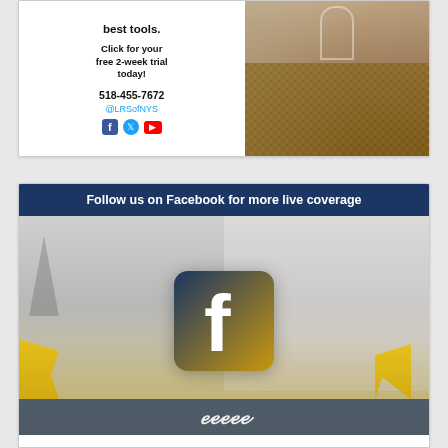[Figure (advertisement): LRS of NYS advertisement showing 'best tools.' text, 'Click for your free 2-week trial today!', phone number 518-455-7672, @LRSofNYS social handle, Facebook/Twitter/YouTube icons, and a hallway/corridor photo on the right side.]
[Figure (infographic): Facebook social media promotional banner: 'Follow us on Facebook for more live coverage' in white text on dark navy background, large Facebook logo (blue/gold gradient) centered over a faded background image of a crowd rally with yellow flags and a government building, with cursive/script text partially visible at the bottom.]